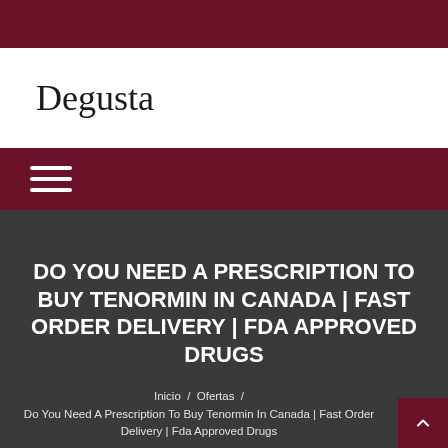[Figure (logo): Dark red top banner bar]
Degusta
[Figure (other): Dark red navigation bar with hamburger menu icon]
DO YOU NEED A PRESCRIPTION TO BUY TENORMIN IN CANADA | FAST ORDER DELIVERY | FDA APPROVED DRUGS
Inicio / Ofertas / Do You Need A Prescription To Buy Tenormin In Canada | Fast Order Delivery | Fda Approved Drugs